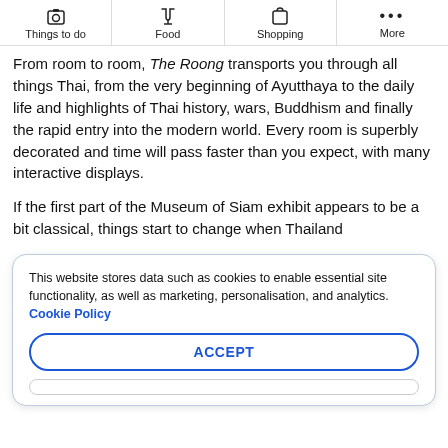Things to do | Food | Shopping | More
From room to room, The Roong transports you through all things Thai, from the very beginning of Ayutthaya to the daily life and highlights of Thai history, wars, Buddhism and finally the rapid entry into the modern world. Every room is superbly decorated and time will pass faster than you expect, with many interactive displays.
If the first part of the Museum of Siam exhibit appears to be a bit classical, things start to change when Thailand...
This website stores data such as cookies to enable essential site functionality, as well as marketing, personalisation, and analytics. Cookie Policy
ACCEPT